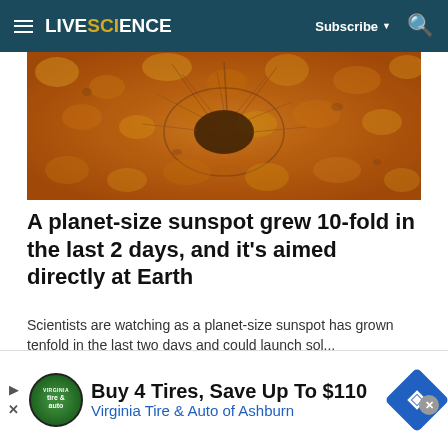LIVESCIENCE — Subscribe — Search
[Figure (photo): Close-up photo of sun surface showing a sunspot with granulation texture in orange/amber tones]
A planet-size sunspot grew 10-fold in the last 2 days, and it's aimed directly at Earth
Scientists are watching as a planet-size sunspot has grown tenfold in the last two days and could launch sol...
Livescience
[Figure (photo): Dark photo showing a hand near a car window at night]
Buy 4 Tires, Save Up To $110 Virginia Tire & Auto of Ashburn